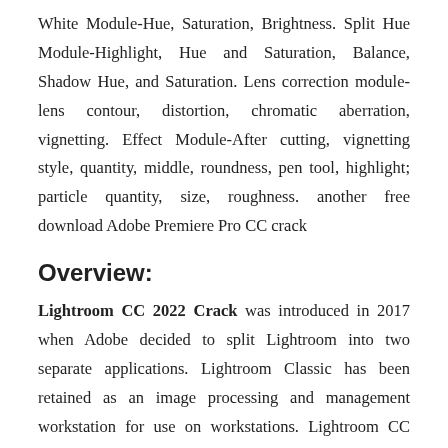White Module-Hue, Saturation, Brightness. Split Hue Module-Highlight, Hue and Saturation, Balance, Shadow Hue, and Saturation. Lens correction module-lens contour, distortion, chromatic aberration, vignetting. Effect Module-After cutting, vignetting style, quantity, middle, roundness, pen tool, highlight; particle quantity, size, roughness. another free download Adobe Premiere Pro CC crack
Overview:
Lightroom CC 2022 Crack was introduced in 2017 when Adobe decided to split Lightroom into two separate applications. Lightroom Classic has been retained as an image processing and management workstation for use on workstations. Lightroom CC offers extensive support for mobile and tablet devices (in addition to the desktop). It also has cloud syncing and a new interface with slightly limited functionality. It is important to note that you do not have to choose between the two. Both are available in Adobe's